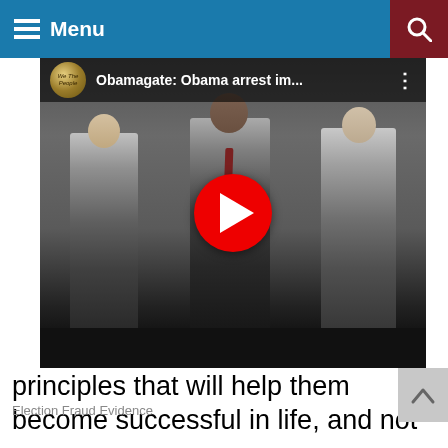Menu
[Figure (screenshot): YouTube video thumbnail showing three men in suits walking, with title 'Obamagate: Obama arrest im...' and a red YouTube play button overlay]
principles that will help them become successful in life, and not
Election Fraud Evidence